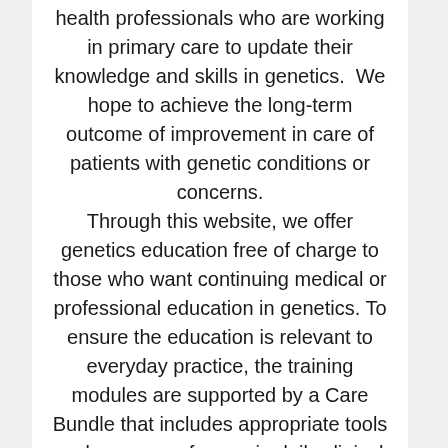health professionals who are working in primary care to update their knowledge and skills in genetics.  We hope to achieve the long-term outcome of improvement in care of patients with genetic conditions or concerns. Through this website, we offer genetics education free of charge to those who want continuing medical or professional education in genetics. To ensure the education is relevant to everyday practice, the training modules are supported by a Care Bundle that includes appropriate tools and resources for use in daily clinical care.